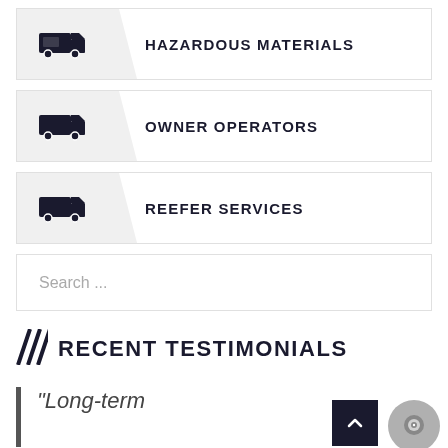HAZARDOUS MATERIALS
OWNER OPERATORS
REEFER SERVICES
Search ...
RECENT TESTIMONIALS
“Long-term